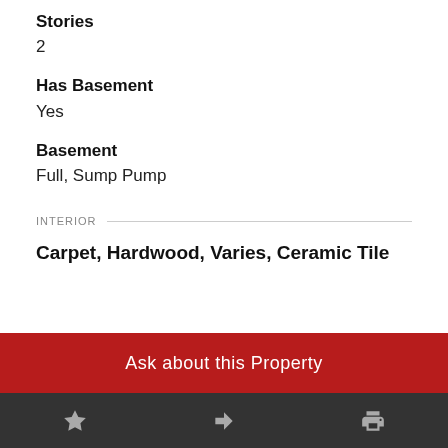Stories
2
Has Basement
Yes
Basement
Full, Sump Pump
INTERIOR
Carpet, Hardwood, Varies, Ceramic Tile
Ask about this Property